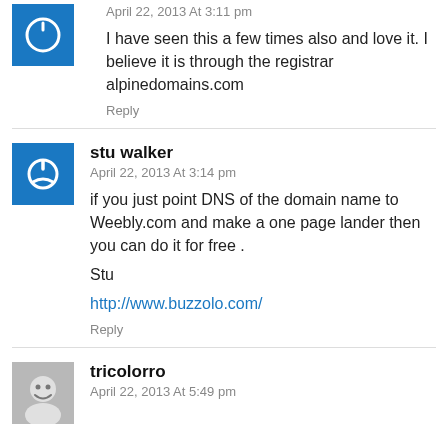April 22, 2013 At 3:11 pm
I have seen this a few times also and love it. I believe it is through the registrar alpinedomains.com
Reply
stu walker
April 22, 2013 At 3:14 pm
if you just point DNS of the domain name to Weebly.com and make a one page lander then you can do it for free .

Stu

http://www.buzzolo.com/
Reply
tricolorro
April 22, 2013 At 5:49 pm